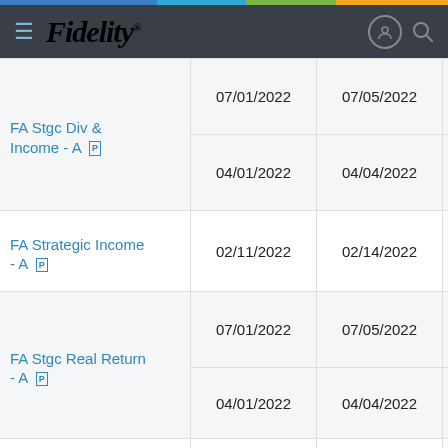Fidelity
| Fund Name | Ex-Div Date | Record Date | Amount |
| --- | --- | --- | --- |
| FA Stgc Div & Income - A [P] | 07/01/2022 | 07/05/2022 | $15... |
|  | 04/01/2022 | 04/04/2022 | $17... |
| FA Strategic Income - A [P] | 02/11/2022 | 02/14/2022 | $12... |
| FA Stgc Real Return - A [P] | 07/01/2022 | 07/05/2022 | $8... |
|  | 04/01/2022 | 04/04/2022 | $9... |
| FA Telecommunications - A [P] | 07/01/2022 | 07/05/2022 | $52... |